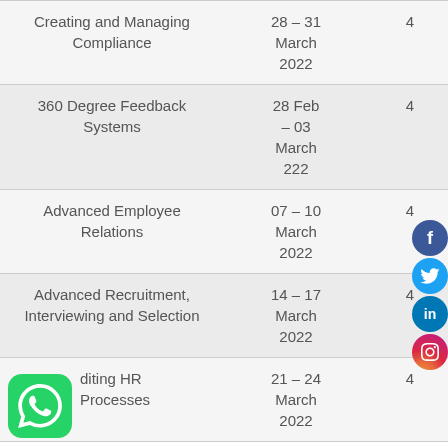| Course | Date | Days |
| --- | --- | --- |
| Creating and Managing Compliance | 28 – 31 March 2022 | 4 |
| 360 Degree Feedback Systems | 28 Feb – 03 March 222 | 4 |
| Advanced Employee Relations | 07 – 10 March 2022 | 4 |
| Advanced Recruitment, Interviewing and Selection | 14 – 17 March 2022 | 4 |
| Auditing HR Processes | 21 – 24 March 2022 | 4 |